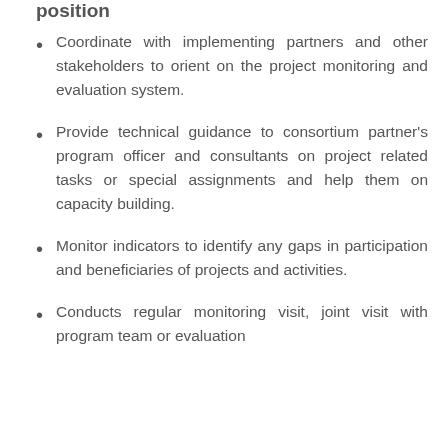position
Coordinate with implementing partners and other stakeholders to orient on the project monitoring and evaluation system.
Provide technical guidance to consortium partner's program officer and consultants on project related tasks or special assignments and help them on capacity building.
Monitor indicators to identify any gaps in participation and beneficiaries of projects and activities.
Conducts regular monitoring visit, joint visit with program team or evaluation